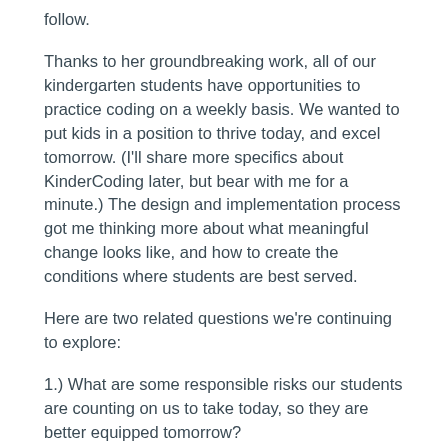follow.
Thanks to her groundbreaking work, all of our kindergarten students have opportunities to practice coding on a weekly basis. We wanted to put kids in a position to thrive today, and excel tomorrow. (I'll share more specifics about KinderCoding later, but bear with me for a minute.) The design and implementation process got me thinking more about what meaningful change looks like, and how to create the conditions where students are best served.
Here are two related questions we're continuing to explore:
1.) What are some responsible risks our students are counting on us to take today, so they are better equipped tomorrow?
2.) How can we better connect and